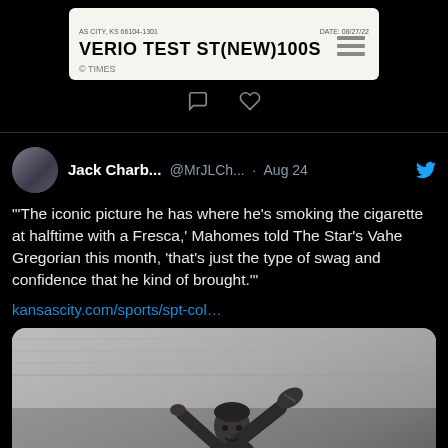[Figure (screenshot): Top portion of a tweet card showing a label/prescription image with text 'VERIO TEST ST(NEW)100S' and reaction icons (comment and heart) below it]
Jack Charb... @MrJLCh... · Aug 24
"'The iconic picture he has where he's smoking the cigarette at halftime with a Fresca,' Mahomes told The Star's Vahe Gregorian this month, 'that's just the type of swag and confidence that he kind of brought.'"
kansascity.com/sports/spt-col…
[Figure (photo): Black and white photo of a man (football player/coach) throwing or holding up a football with one hand raised]